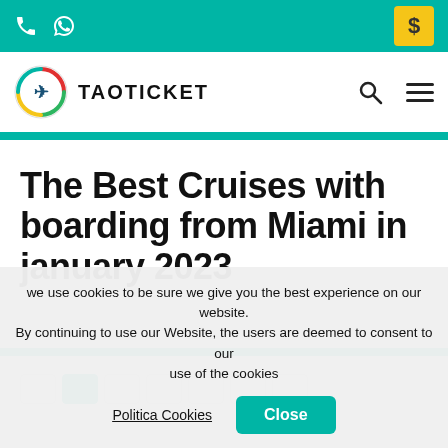TAOTICKET — top navigation bar with phone, WhatsApp icons, dollar button, logo, search, and menu
The Best Cruises with boarding from Miami in january 2023
we use cookies to be sure we give you the best experience on our website. By continuing to use our Website, the users are deemed to consent to our use of the cookies
Politica Cookies  Close